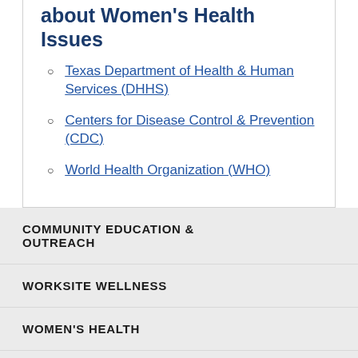about Women's Health Issues
Texas Department of Health & Human Services (DHHS)
Centers for Disease Control & Prevention (CDC)
World Health Organization (WHO)
COMMUNITY EDUCATION & OUTREACH
WORKSITE WELLNESS
WOMEN'S HEALTH
SCHOOL HEALTH
MEN'S HEALTH